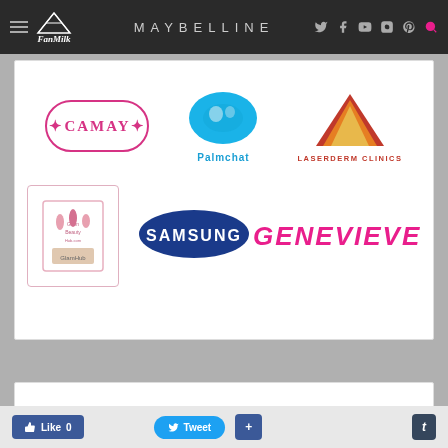FanMilk | MAYBELLINE
[Figure (logo): Sponsors collage: CAMAY, Palmchat, Laserderm Clinics, Glam Beauty Hub, Samsung, Genevieve logos]
READ ALL MY POSTS
Like 0 | Tweet | + | t